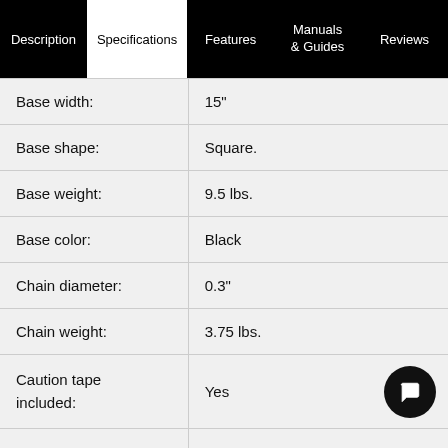Description | Specifications | Features | Manuals & Guides | Reviews
|  |  |
| --- | --- |
| Base width: | 15" |
| Base shape: | Square. |
| Base weight: | 9.5 lbs. |
| Base color: | Black |
| Chain diameter: | 0.3" |
| Chain weight: | 3.75 lbs. |
| Caution tape included: | Yes |